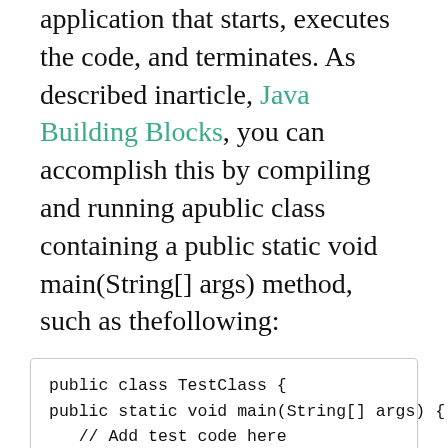application that starts, executes the code, and terminates. As described inarticle, Java Building Blocks, you can accomplish this by compiling and running apublic class containing a public static void main(String[] args) method, such as thefollowing:
public class TestClass {
public static void main(String[] args) {
   // Add test code here
   // Add any print statements here
   System.out.println("Hello World!");
 }
}
This application isnt particularly